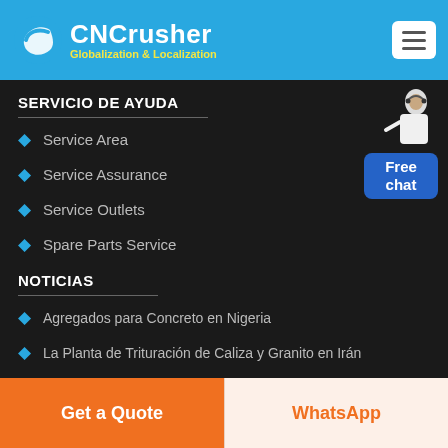CNCrusher Globalization & Localization
SERVICIO DE AYUDA
Service Area
Service Assurance
Service Outlets
Spare Parts Service
NOTICIAS
Agregados para Concreto en Nigeria
La Planta de Trituración de Caliza y Granito en Irán
[Figure (illustration): Customer service representative with headset, alongside a blue 'Free chat' button widget]
Get a Quote
WhatsApp